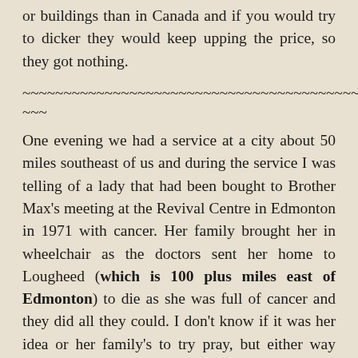or buildings than in Canada and if you would try to dicker they would keep upping the price, so they got nothing.
~~~~~~~~~~~~~~~~~~~~~~~~~~~~~~~~~~~~~~~~~~~~~~~~~~~~~~~~~~~~~~~~
One evening we had a service at a city about 50 miles southeast of us and during the service I was telling of a lady that had been bought to Brother Max's meeting at the Revival Centre in Edmonton in 1971 with cancer. Her family brought her in wheelchair as the doctors sent her home to Lougheed (which is 100 plus miles east of Edmonton) to die as she was full of cancer and they did all they could. I don't know if it was her idea or her family's to try pray, but either way they came.
When Brother Max called for those that wanted prayer, they wheeled her up and she told Max what it